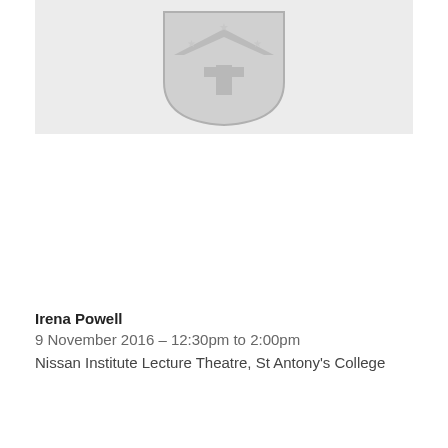[Figure (logo): University shield/crest logo in grey tones on a light grey background. The shield contains a large T in the center, a chevron above it, and three stars arranged around the chevron.]
Irena Powell
9 November 2016 – 12:30pm to 2:00pm
Nissan Institute Lecture Theatre, St Antony's College